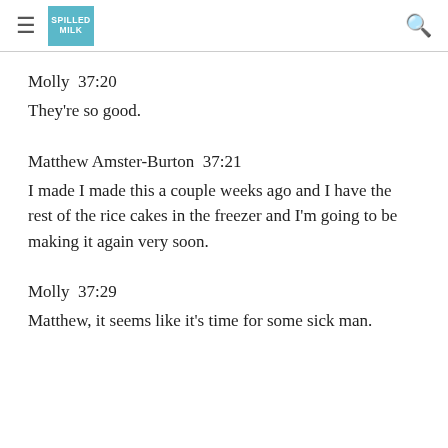≡ SPILLED MILK 🔍
Molly  37:20
They're so good.
Matthew Amster-Burton  37:21
I made I made this a couple weeks ago and I have the rest of the rice cakes in the freezer and I'm going to be making it again very soon.
Molly  37:29
Matthew, it seems like it's time for some sick man.